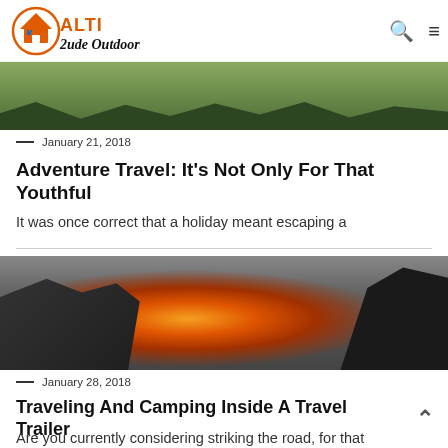Alti 2ude Outdoors
[Figure (photo): Outdoor hikers in a green forest setting, cropped to show legs and foliage]
— January 21, 2018
Adventure Travel: It's Not Only For That Youthful
It was once correct that a holiday meant escaping a
[Figure (photo): Two people sitting around a campfire in a fire pit outdoors, at dusk]
— January 28, 2018
Traveling And Camping Inside A Travel Trailer
Are you currently considering striking the road, for that